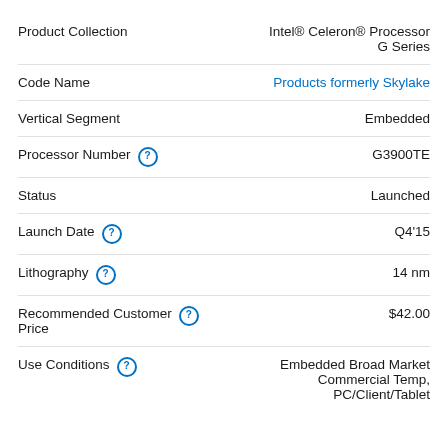| Property | Value |
| --- | --- |
| Product Collection | Intel® Celeron® Processor G Series |
| Code Name | Products formerly Skylake |
| Vertical Segment | Embedded |
| Processor Number | G3900TE |
| Status | Launched |
| Launch Date | Q4'15 |
| Lithography | 14 nm |
| Recommended Customer Price | $42.00 |
| Use Conditions | Embedded Broad Market Commercial Temp, PC/Client/Tablet |